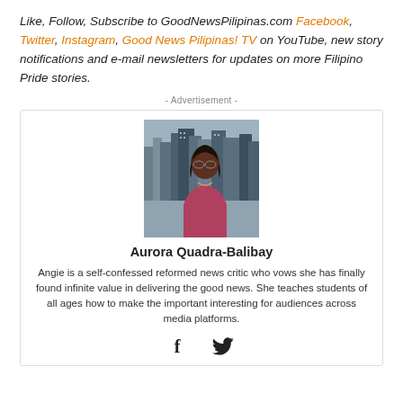Like, Follow, Subscribe to GoodNewsPilipinas.com Facebook, Twitter, Instagram, Good News Pilipinas! TV on YouTube, new story notifications and e-mail newsletters for updates on more Filipino Pride stories.
- Advertisement -
[Figure (photo): Portrait photo of Aurora Quadra-Balibay with city skyline in background]
Aurora Quadra-Balibay
Angie is a self-confessed reformed news critic who vows she has finally found infinite value in delivering the good news. She teaches students of all ages how to make the important interesting for audiences across media platforms.
[Figure (infographic): Social media icons: Facebook (f) and Twitter (bird)]